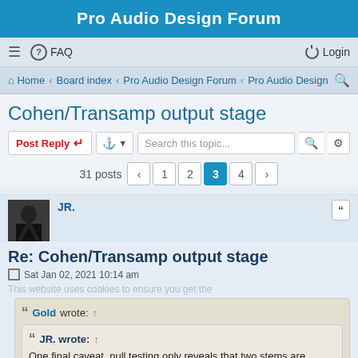Pro Audio Design Forum
≡  FAQ    Login
Home · Board index · Pro Audio Design Forum · Pro Audio Design
Cohen/Transamp output stage
Post Reply   [tool]   Search this topic...   31 posts  1  2  3  4
JR.
Re: Cohen/Transamp output stage
Sat Jan 02, 2021 10:14 am
Gold wrote: ↑
JR. wrote: ↑
One final caveat, null testing only reveals that two stems are different, not which is which.